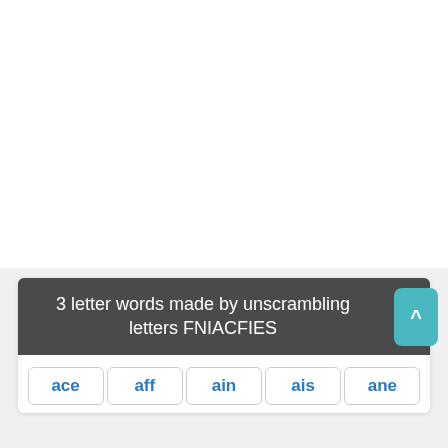3 letter words made by unscrambling letters FNIACFIES
ace
aff
ain
ais
ane